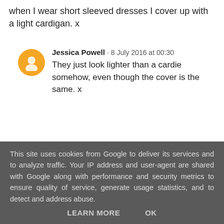when I wear short sleeved dresses I cover up with a light cardigan. x
Jessica Powell · 8 July 2016 at 00:30
They just look lighter than a cardie somehow, even though the cover is the same. x
REPLY
helloarchie.blue · 6 July 2016 at 08:36
Never seen anything like this before and they really do look gorgeous (as do you)! Will have to
This site uses cookies from Google to deliver its services and to analyze traffic. Your IP address and user-agent are shared with Google along with performance and security metrics to ensure quality of service, generate usage statistics, and to detect and address abuse.
LEARN MORE
OK